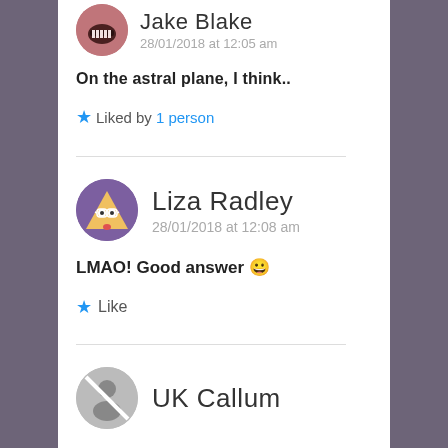Jake Blake
28/01/2018 at 12:05 am
On the astral plane, I think..
★ Liked by 1 person
Liza Radley
28/01/2018 at 12:08 am
LMAO! Good answer 😀
★ Like
UK Callum